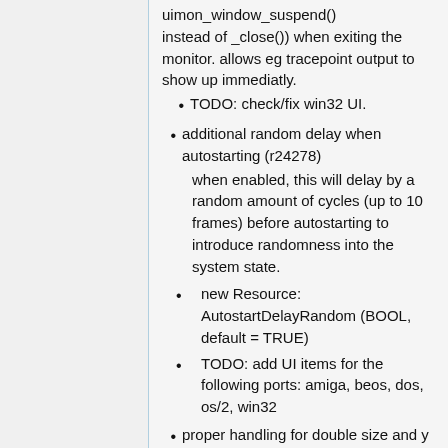uimon_window_suspend() instead of _close()) when exiting the monitor. allows eg tracepoint output to show up immediatly.
TODO: check/fix win32 UI.
additional random delay when autostarting (r24278)
when enabled, this will delay by a random amount of cycles (up to 10 frames) before autostarting to introduce randomness into the system state.
new Resource: AutostartDelayRandom (BOOL, default = TRUE)
TODO: add UI items for the following ports: amiga, beos, dos, os/2, win32
proper handling for double size and y stretching (r24284)